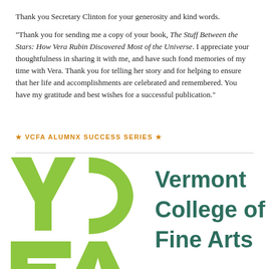Thank you Secretary Clinton for your generosity and kind words.
“Thank you for sending me a copy of your book, The Stuff Between the Stars: How Vera Rubin Discovered Most of the Universe. I appreciate your thoughtfulness in sharing it with me, and have such fond memories of my time with Vera. Thank you for telling her story and for helping to ensure that her life and accomplishments are celebrated and remembered. You have my gratitude and best wishes for a successful publication.”
★ VCFA ALUMNX SUCCESS SERIES ★
[Figure (logo): Vermont College of Fine Arts logo — large green VCFA letterforms on the left and 'Vermont College of Fine Arts' text in dark teal on the right]